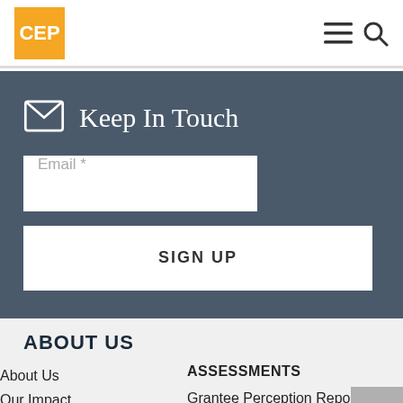CEP
Keep In Touch
Email *
SIGN UP
ABOUT US
About Us
Our Impact
Staff
Board
ASSESSMENTS
Grantee Perception Report
Donor Perception Report